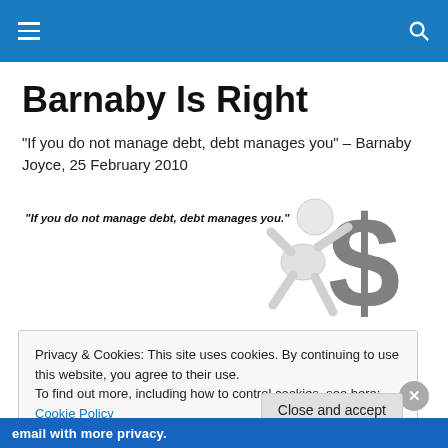Barnaby Is Right — navigation header
Barnaby Is Right
"If you do not manage debt, debt manages you" – Barnaby Joyce, 25 February 2010
[Figure (illustration): Illustration of a white 3D figure being crushed by a large grey dollar sign, with the quote 'If you do not manage debt, debt manages you.' overlaid in bold italic text on the left side.]
Privacy & Cookies: This site uses cookies. By continuing to use this website, you agree to their use.
To find out more, including how to control cookies, see here: Cookie Policy
email with more privacy. [DuckDuckGo advertisement]